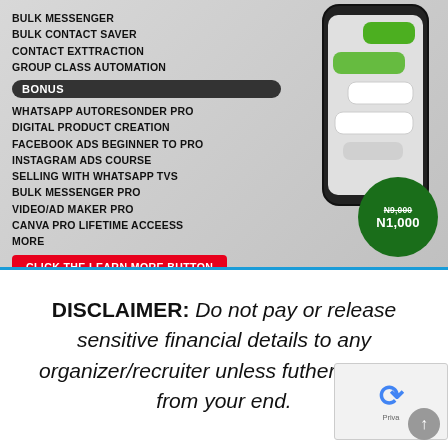[Figure (infographic): Promotional advertisement banner for a WhatsApp marketing course listing features: Bulk Messenger, Bulk Contact Saver, Contact Extraction, Group Class Automation, Bonus items including WhatsApp Autoresonder Pro, Digital Product Creation, Facebook Ads Beginner to Pro, Instagram Ads Course, Selling with WhatsApp TVS, Bulk Messenger Pro, Video/Ad Maker Pro, Canva Pro Lifetime Access, More. Call to action: Click the Learn More Button. Price shown: N9,000 (crossed out) now N1,000. Phone graphic on right side.]
DISCLAIMER: Do not pay or release sensitive financial details to any organizer/recruiter unless futher verified from your end.